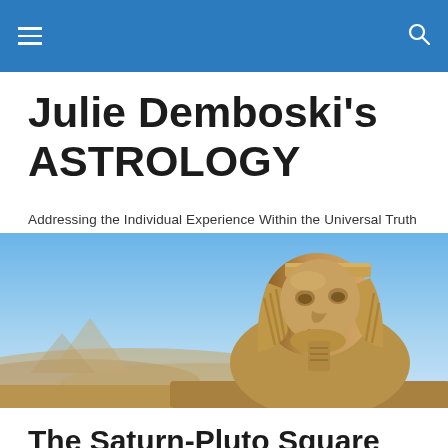navigation bar with hamburger menu and search icon
Julie Demboski's ASTROLOGY
Addressing the Individual Experience Within the Universal Truth
[Figure (photo): Photograph of the Great Sphinx of Giza against a blue sky, with desert hills in the background]
The Saturn-Pluto Square
A conflict aspect between two serious heavyweights such